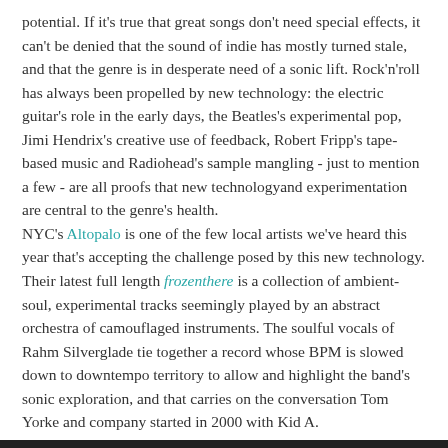potential. If it's true that great songs don't need special effects, it can't be denied that the sound of indie has mostly turned stale, and that the genre is in desperate need of a sonic lift. Rock'n'roll has always been propelled by new technology: the electric guitar's role in the early days, the Beatles's experimental pop, Jimi Hendrix's creative use of feedback, Robert Fripp's tape-based music and Radiohead's sample mangling - just to mention a few - are all proofs that new technologyand experimentation are central to the genre's health. NYC's Altopalo is one of the few local artists we've heard this year that's accepting the challenge posed by this new technology. Their latest full length frozenthere is a collection of ambient-soul, experimental tracks seemingly played by an abstract orchestra of camouflaged instruments. The soulful vocals of Rahm Silverglade tie together a record whose BPM is slowed down to downtempo territory to allow and highlight the band's sonic exploration, and that carries on the conversation Tom Yorke and company started in 2000 with Kid A.